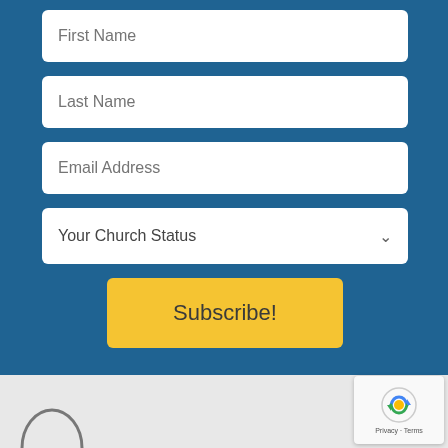First Name
Last Name
Email Address
Your Church Status
Subscribe!
[Figure (logo): reCAPTCHA badge with robot icon and Privacy - Terms text]
[Figure (logo): Partial circular logo/icon visible at bottom left]